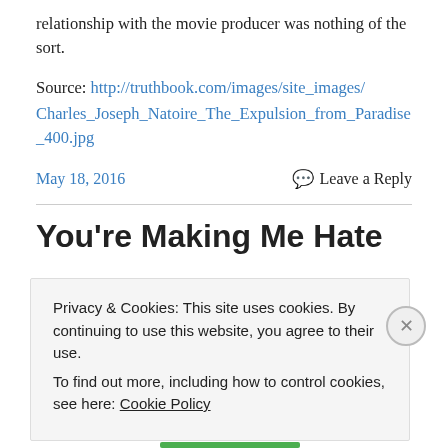relationship with the movie producer was nothing of the sort.
Source: http://truthbook.com/images/site_images/Charles_Joseph_Natoire_The_Expulsion_from_Paradise_400.jpg
May 18, 2016
Leave a Reply
You're Making Me Hate You: A
Privacy & Cookies: This site uses cookies. By continuing to use this website, you agree to their use.
To find out more, including how to control cookies, see here: Cookie Policy
Close and accept